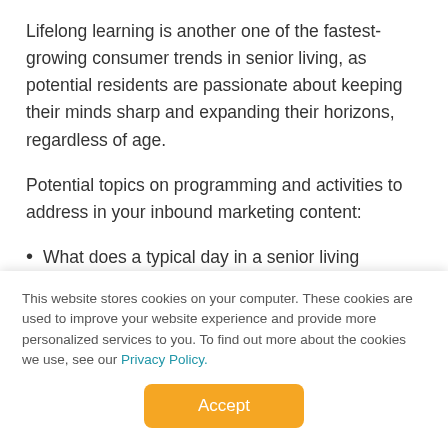Lifelong learning is another one of the fastest-growing consumer trends in senior living, as potential residents are passionate about keeping their minds sharp and expanding their horizons, regardless of age.
Potential topics on programming and activities to address in your inbound marketing content:
What does a typical day in a senior living community look like?
What activities are available to do on a daily basis?
Can residents suggest ideas for activities?
This website stores cookies on your computer. These cookies are used to improve your website experience and provide more personalized services to you. To find out more about the cookies we use, see our Privacy Policy.